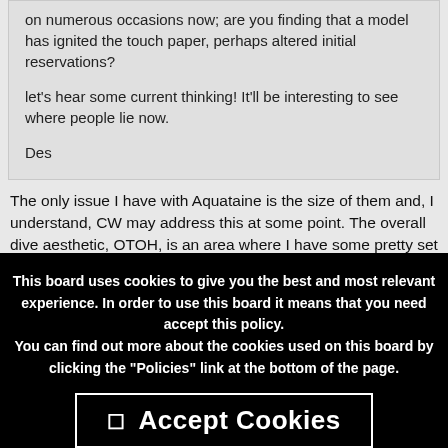on numerous occasions now; are you finding that a model has ignited the touch paper, perhaps altered initial reservations?

let's hear some current thinking! It'll be interesting to see where people lie now.

Des
The only issue I have with Aquataine is the size of them and, I understand, CW may address this at some point. The overall dive aesthetic, OTOH, is an area where I have some pretty set ideas of what I like. Is a Pepsi look remotely feasible with this type of bezel?

Otherwise, I think this line is beautiful.
Beat up vintage Swatch Irony, C5 Malvern (the original), Swiss Military Swiss
This board uses cookies to give you the best and most relevant experience. In order to use this board it means that you need accept this policy.
You can find out more about the cookies used on this board by clicking the "Policies" link at the bottom of the page.
✓ Accept Cookies